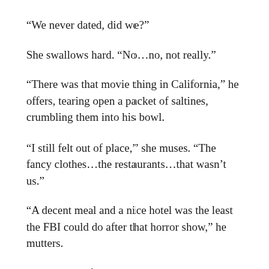“We never dated, did we?”
She swallows hard. “No…no, not really.”
“There was that movie thing in California,” he offers, tearing open a packet of saltines, crumbling them into his bowl.
“I still felt out of place,” she muses. “The fancy clothes…the restaurants…that wasn’t us.”
“A decent meal and a nice hotel was the least the FBI could do after that horror show,” he mutters.
She relaxes a fraction, sitting back to stretch.